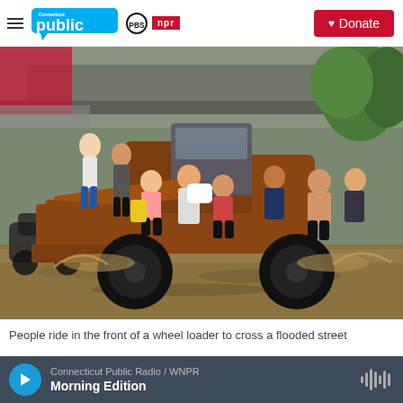Connecticut Public | PBS | NPR | Donate
[Figure (photo): People crowded on the front bucket of an orange wheel loader crossing a flooded brown street. Multiple people sit and stand on the machine's loader arms and bucket, holding bags. Floodwater surrounds the loader. A submerged car is visible on the left. Green trees and an overpass are in the background.]
People ride in the front of a wheel loader to cross a flooded street
Connecticut Public Radio / WNPR — Morning Edition